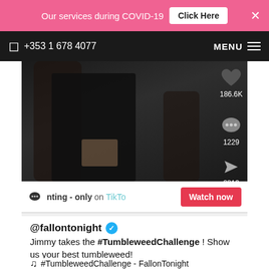Our services during COVID-19  Click Here  ×
+353 1 678 4077  MENU
[Figure (screenshot): TikTok video screenshot showing a person in dark clothing with social interaction icons on the right side: 186.6K likes, 1229 comments, 2813 shares]
nting - only on TikTo  Watch now
@fallontonight ✓
Jimmy takes the #TumbleweedChallenge ! Show us your best tumbleweed!
♫  #TumbleweedChallenge - FallonTonight